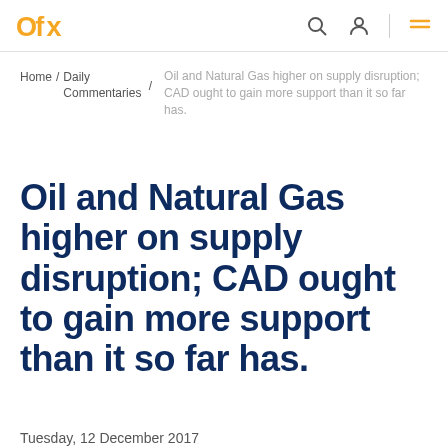OFX — navigation header with search, profile and menu icons
Home / Daily Commentaries / Oil and Natural Gas higher on supply disruption; CAD ought to gain more support than it so far has.
Oil and Natural Gas higher on supply disruption; CAD ought to gain more support than it so far has.
Tuesday, 12 December 2017